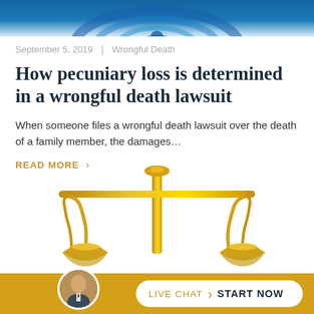[Figure (logo): Law firm logo with blue circular design at top of page]
September 5, 2019  |  Wrongful Death
How pecuniary loss is determined in a wrongful death lawsuit
When someone files a wrongful death lawsuit over the death of a family member, the damages...
READ MORE  ›
[Figure (illustration): Golden scales of justice illustration]
[Figure (photo): Circular avatar photo of an attorney/lawyer]
LIVE CHAT  ›  START NOW